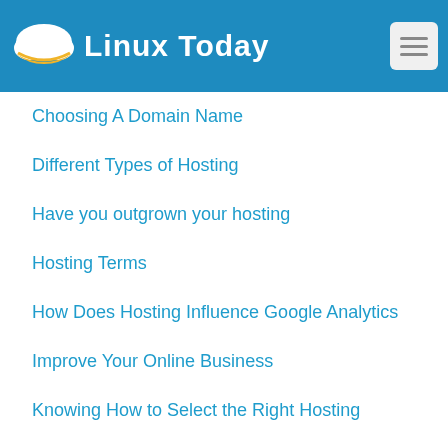Linux Today
Choosing A Domain Name
Different Types of Hosting
Have you outgrown your hosting
Hosting Terms
How Does Hosting Influence Google Analytics
Improve Your Online Business
Knowing How to Select the Right Hosting
Options for Hosting
The Boundaries of Free Hosting
What is dedicated hosting